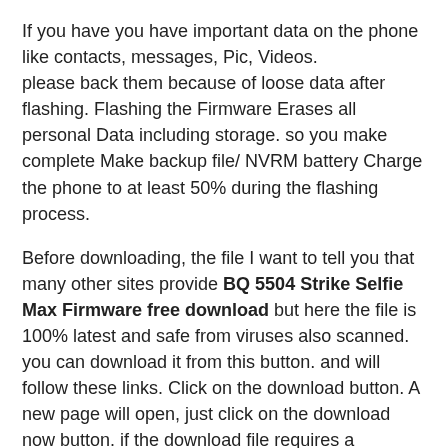If you have you have important data on the phone like contacts, messages, Pic, Videos. please back them because of loose data after flashing. Flashing the Firmware Erases all personal Data including storage. so you make complete Make backup file/ NVRM battery Charge the phone to at least 50% during the flashing process.
Before downloading, the file I want to tell you that many other sites provide BQ 5504 Strike Selfie Max Firmware free download but here the file is 100% latest and safe from viruses also scanned. you can download it from this button. and will follow these links. Click on the download button. A new page will open, just click on the download now button. if the download file requires a password for download. Not this you should buy this file. if the file does not ask for download then you can simply. you flash this file with any spd flash tool and